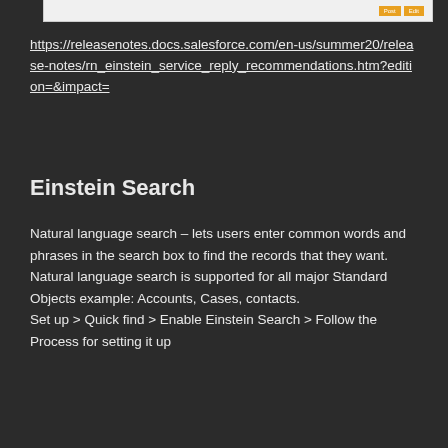[Figure (screenshot): Partial screenshot of a Salesforce UI showing Post and Edit buttons in orange]
https://releasenotes.docs.salesforce.com/en-us/summer20/release-notes/rn_einstein_service_reply_recommendations.htm?edition=&impact=
Einstein Search
Natural language search – lets users enter common words and phrases in the search box to find the records that they want. Natural language search is supported for all major Standard Objects example: Accounts, Cases, contacts.
Set up > Quick find > Enable Einstein Search > Follow the Process for setting it up